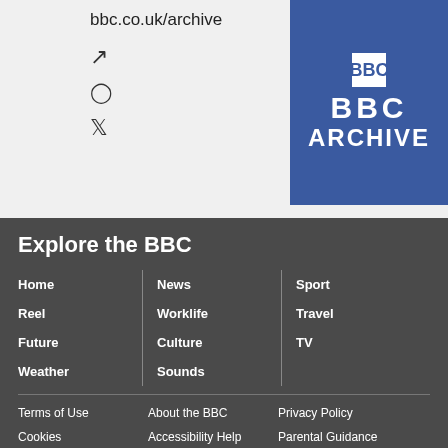bbc.co.uk/archive
[Figure (logo): BBC ARCHIVE logo on blue background]
Explore the BBC
Home
Reel
Future
Weather
News
Worklife
Culture
Sounds
Sport
Travel
TV
Terms of Use
Cookies
Contact the BBC
About the BBC
Accessibility Help
BBC emails for you
Privacy Policy
Parental Guidance
Advertise with us